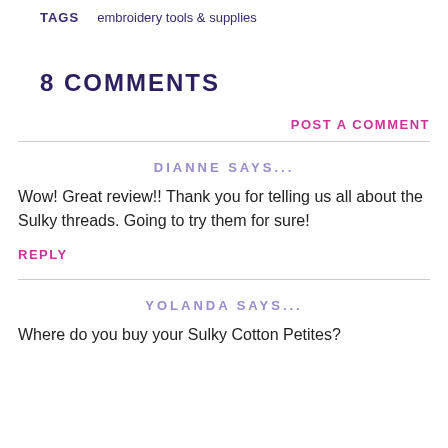TAGS    embroidery tools & supplies
8 COMMENTS
POST A COMMENT
DIANNE SAYS...
Wow! Great review!! Thank you for telling us all about the Sulky threads. Going to try them for sure!
REPLY
YOLANDA SAYS...
Where do you buy your Sulky Cotton Petites?